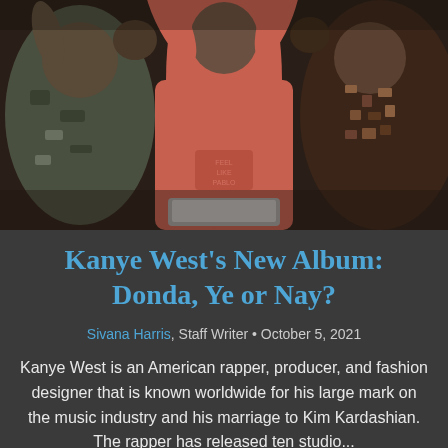[Figure (photo): Concert/event photo showing a person in a salmon/red long-sleeve shirt with arms raised above head, surrounded by crowd members including someone in camouflage on the left and someone in a patterned jacket on the right. The scene is dark and crowded.]
Kanye West's New Album: Donda, Ye or Nay?
Sivana Harris, Staff Writer • October 5, 2021
Kanye West is an American rapper, producer, and fashion designer that is known worldwide for his large mark on the music industry and his marriage to Kim Kardashian. The rapper has released ten studio...